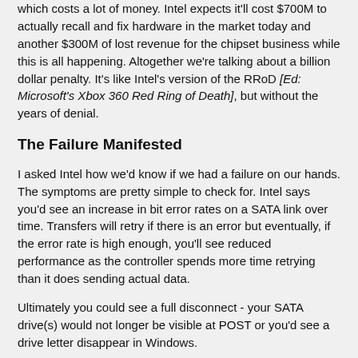which costs a lot of money. Intel expects it'll cost $700M to actually recall and fix hardware in the market today and another $300M of lost revenue for the chipset business while this is all happening. Altogether we're talking about a billion dollar penalty. It's like Intel's version of the RRoD [Ed: Microsoft's Xbox 360 Red Ring of Death], but without the years of denial.
The Failure Manifested
I asked Intel how we'd know if we had a failure on our hands. The symptoms are pretty simple to check for. Intel says you'd see an increase in bit error rates on a SATA link over time. Transfers will retry if there is an error but eventually, if the error rate is high enough, you'll see reduced performance as the controller spends more time retrying than it does sending actual data.
Ultimately you could see a full disconnect - your SATA drive(s) would not longer be visible at POST or you'd see a drive letter disappear in Windows.
It's Limited to 3Gbps Ports Only
Interestingly enough the problem doesn't affect ports 0 & 1 on the 6 series chipset. Remember that Intel has two 6Gbps ports and